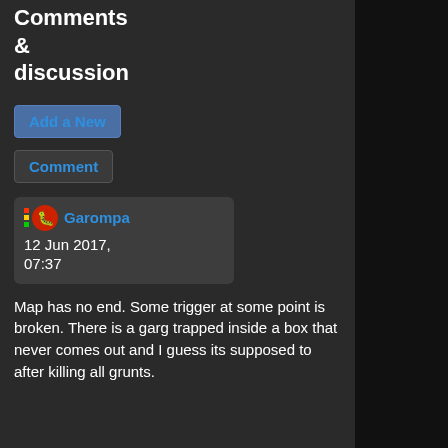Comments & discussion
Add a New
Comment
Garompa
12 Jun 2017, 07:37
Map has no end. Some trigger at some point is broken. There is a garg trapped inside a box that never comes out and I guess its supposed to after killing all grunts.